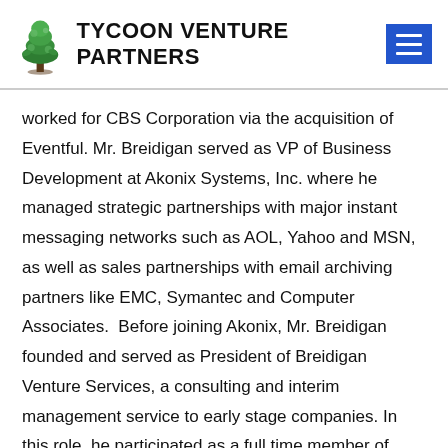TYCOON VENTURE PARTNERS
worked for CBS Corporation via the acquisition of Eventful. Mr. Breidigan served as VP of Business Development at Akonix Systems, Inc. where he managed strategic partnerships with major instant messaging networks such as AOL, Yahoo and MSN, as well as sales partnerships with email archiving partners like EMC, Symantec and Computer Associates.  Before joining Akonix, Mr. Breidigan founded and served as President of Breidigan Venture Services, a consulting and interim management service to early stage companies. In this role, he participated as a full time member of start-up management teams, driving business strategy, partnership development, capital raising and strategic